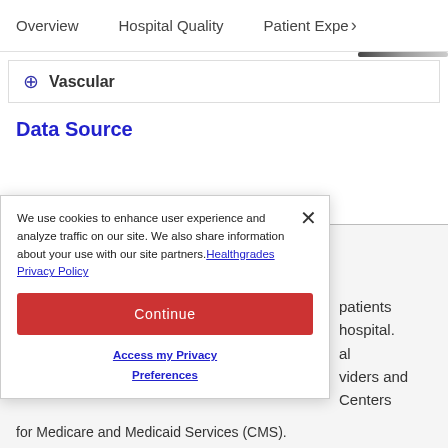Overview   Hospital Quality   Patient Experience >
+ Vascular
Data Source
Patient Experience
We use cookies to enhance user experience and analyze traffic on our site. We also share information about your use with our site partners. Healthgrades Privacy Policy
Continue
Access my Privacy Preferences
patients hospital. al viders and Centers
for Medicare and Medicaid Services (CMS).